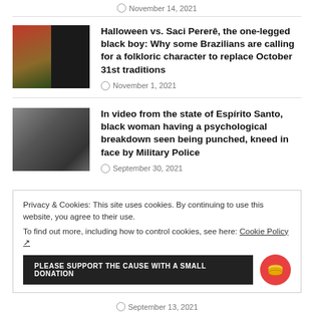November 14, 2021
[Figure (photo): Thumbnail image for Halloween vs Saci Pererê article]
Halloween vs. Saci Pererê, the one-legged black boy: Why some Brazilians are calling for a folkloric character to replace October 31st traditions
November 1, 2021
[Figure (photo): Thumbnail image showing police altercation with black woman]
In video from the state of Espírito Santo, black woman having a psychological breakdown seen being punched, kneed in face by Military Police
September 30, 2021
Privacy & Cookies: This site uses cookies. By continuing to use this website, you agree to their use.
To find out more, including how to control cookies, see here: Cookie Policy ↗
PLEASE SUPPORT THE CAUSE WITH A SMALL DONATION
September 13, 2021